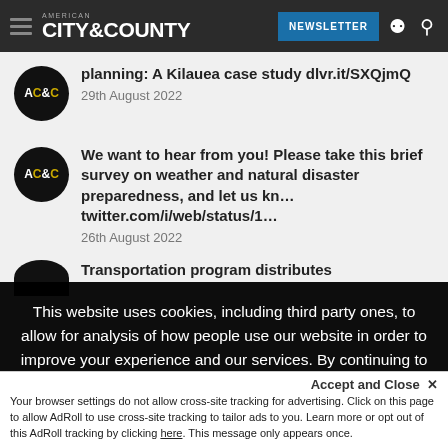American City & County — NEWSLETTER
planning: A Kilauea case study dlvr.it/SXQjmQ — 29th August 2022
We want to hear from you! Please take this brief survey on weather and natural disaster preparedness, and let us kn… twitter.com/i/web/status/1… — 26th August 2022
Transportation program distributes
This website uses cookies, including third party ones, to allow for analysis of how people use our website in order to improve your experience and our services. By continuing to use our website, you agree to the use of such cookies. Click here for more information on our Cookie Policy and Privacy Policy.
Accept and Close ✕
Your browser settings do not allow cross-site tracking for advertising. Click on this page to allow AdRoll to use cross-site tracking to tailor ads to you. Learn more or opt out of this AdRoll tracking by clicking here. This message only appears once.